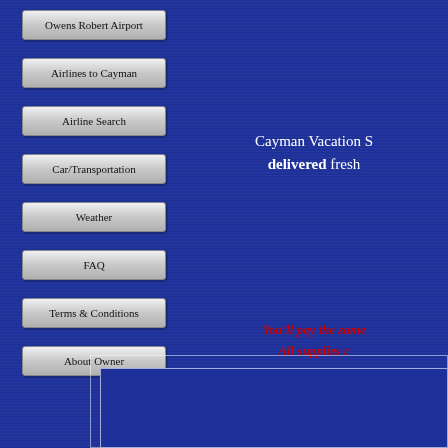Owens Robert Airport
Airlines to Cayman
Airline Search
Car/Transportation
Weather
FAQ
Terms & Conditions
About Owner
Cayman Vacation S... delivered fresh...
You'll pay the same... All supplies c...